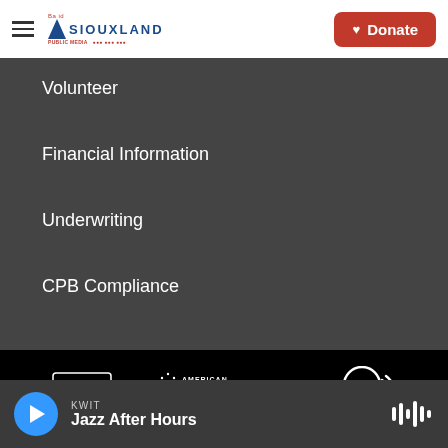[Figure (logo): Siouxland Public Media logo with hamburger menu]
[Figure (logo): Red Donate button with heart icon]
Volunteer
Financial Information
Underwriting
CPB Compliance
[Figure (logo): NPR logo]
[Figure (logo): American Public Media logo]
[Figure (logo): PRX logo]
[Figure (logo): WIT (KWIT) logo]
KWIT Jazz After Hours